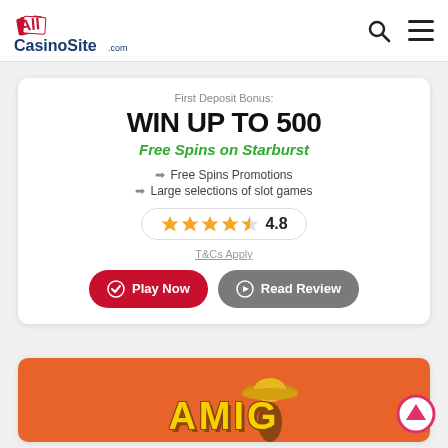All Casino Site .com
First Deposit Bonus:
WIN UP TO 500
Free Spins on Starburst
Free Spins Promotions
Large selections of slot games
4.8
T&Cs Apply
Play Now
Read Review
[Figure (screenshot): Amigo casino card with orange background showing partial AMIGO text with sombrero graphic]